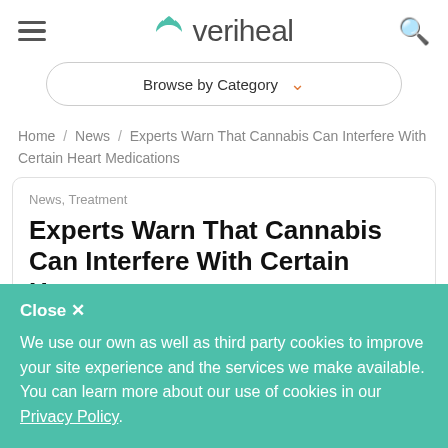veriheal
[Figure (other): Browse by Category dropdown button with orange chevron]
Home / News / Experts Warn That Cannabis Can Interfere With Certain Heart Medications
News, Treatment
Experts Warn That Cannabis Can Interfere With Certain Heart Medications
Close ✕
We use our own as well as third party cookies to improve your site experience and the services we make available. You can learn more about our use of cookies in our Privacy Policy.